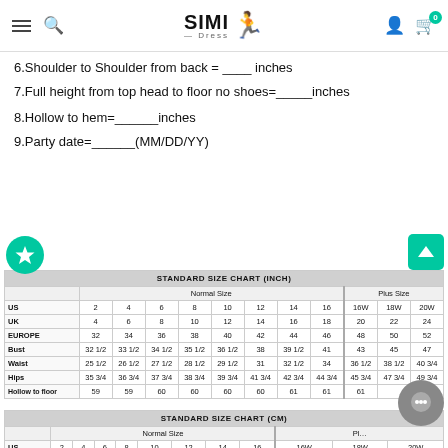SIMI Dress — navigation header
6.Shoulder to Shoulder from back = ____ inches
7.Full height from top head to floor no shoes=_____inches
8.Hollow to hem=______inches
9.Party date=______(MM/DD/YY)
| STANDARD SIZE CHART (INCH) |  |  |  |  |  |  |  |  |  |  |
| --- | --- | --- | --- | --- | --- | --- | --- | --- | --- | --- |
|  | Normal Size |  |  |  |  |  |  |  | Plus Size |  |  |
| US | 2 | 4 | 6 | 8 | 10 | 12 | 14 | 16 | 16W | 18W | 20W |
| UK | 4 | 6 | 8 | 10 | 12 | 14 | 16 | 18 | 20 | 22 | 24 |
| EUROPE | 32 | 34 | 36 | 38 | 40 | 42 | 44 | 46 | 48 | 50 | 52 |
| Bust | 32 1/2 | 33 1/2 | 34 1/2 | 35 1/2 | 36 1/2 | 38 | 39 1/2 | 41 | 43 | 45 | 47 |
| Waist | 25 1/2 | 26 1/2 | 27 1/2 | 28 1/2 | 29 1/2 | 31 | 32 1/2 | 34 | 36 1/2 | 38 1/2 | 40 3/4 |
| Hips | 35 3/4 | 36 3/4 | 37 3/4 | 38 3/4 | 39 3/4 | 41 3/4 | 42 3/4 | 44 3/4 | 45 3/4 | 47 3/4 | 49 3/4 |
| Hollow to floor | 59 | 59 | 60 | 60 | 60 | 60 | 61 | 61 | 61 |  | 62 |
| STANDARD SIZE CHART (CM) |  |  |  |  |  |  |  |  |  |  |
| --- | --- | --- | --- | --- | --- | --- | --- | --- | --- | --- |
|  | Normal Size |  |  |  |  |  |  |  | Plus Size |  |  |
| US | 2 | 4 | 6 | 8 | 10 | 12 | 14 | 16 | 16W | 18W | 20W |